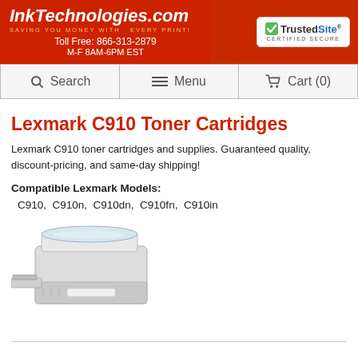InkTechnologies.com — SAVING YOU MONEY WITH EVERY PRINT! Toll Free: 866-313-2879 M-F 8AM-6PM EST | TrustedSite CERTIFIED SECURE
[Figure (screenshot): Navigation bar with Search, Menu, and Cart (0) buttons]
Lexmark C910 Toner Cartridges
Lexmark C910 toner cartridges and supplies. Guaranteed quality, discount-pricing, and same-day shipping!
Compatible Lexmark Models: C910, C910n, C910dn, C910fn, C910in
[Figure (photo): Photo of a Lexmark C910 laser printer, grey/white color, side view showing paper trays]